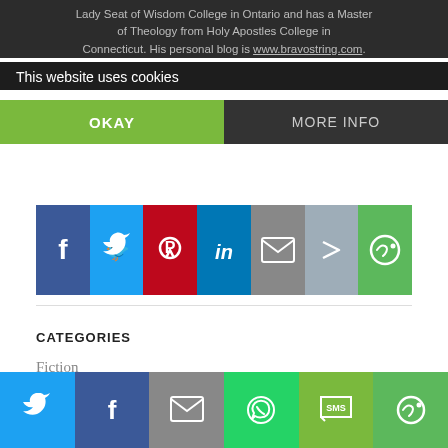Lady Seat of Wisdom College in Ontario and has a Master … of Theology from Holy Apostles College in Connecticut. His personal blog is www.bravostring.com.
This website uses cookies
OKAY
MORE INFO
[Figure (infographic): Social sharing icon buttons row: Facebook (blue), Twitter (light blue), Pinterest (red), LinkedIn (dark blue), Email (grey), Forward (grey-blue), More (green)]
CATEGORIES
Fiction
‹  PREVIOUS
The Man of God Against the Iconoclasts
MARCH 28, 2022
[Figure (infographic): Bottom social sharing bar: Twitter (blue), Facebook (dark blue), Email (grey), WhatsApp (green), SMS (light green), More (green)]